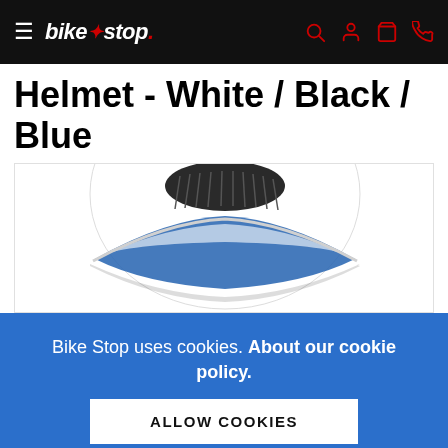bike stop — navigation bar with hamburger menu and icons
Helmet - White / Black / Blue
[Figure (photo): A motorcycle helmet in white, black, and blue colorway shown from above and front. The helmet features a dark visor and blue accent stripes.]
Bike Stop uses cookies. About our cookie policy.
ALLOW COOKIES